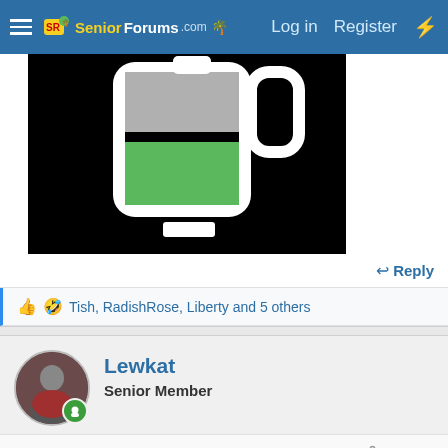SeniorForums.com  Log in  Register
[Figure (screenshot): A battery icon on a black background showing partial charge with gray and green sections, with a white connector element and a small white rectangle below.]
Reply
Tish, RadishRose, Liberty and 5 others
Lewkat
Senior Member
Jun 24, 2022   #11,066